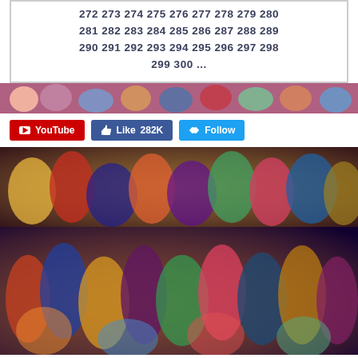272 273 274 275 276 277 278 279 280 281 282 283 284 285 286 287 288 289 290 291 292 293 294 295 296 297 298 299 300 ...
[Figure (photo): Anime characters collage banner strip at top]
YouTube  Like 282K  Follow
[Figure (photo): Large collage of anime characters, colorful crowd]
[Figure (photo): Large collage of anime characters, colorful crowd second panel]